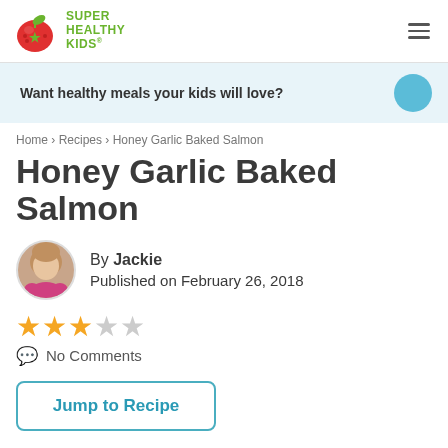SUPER HEALTHY KIDS®
Want healthy meals your kids will love?
Home › Recipes › Honey Garlic Baked Salmon
Honey Garlic Baked Salmon
By Jackie
Published on February 26, 2018
3 out of 5 stars rating
No Comments
Jump to Recipe